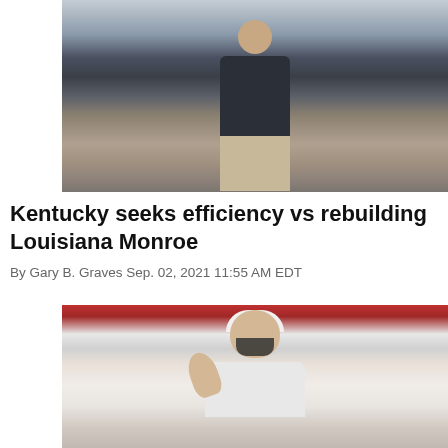[Figure (photo): A football coach in a dark shirt and khaki pants standing on a sideline with hands on hips]
Kentucky seeks efficiency vs rebuilding Louisiana Monroe
By Gary B. Graves Sep. 02, 2021 11:55 AM EDT
[Figure (photo): A football coach in a white Georgia Bulldogs visor and white jacket with mask pulled down, raising hand and gesturing on the sideline]